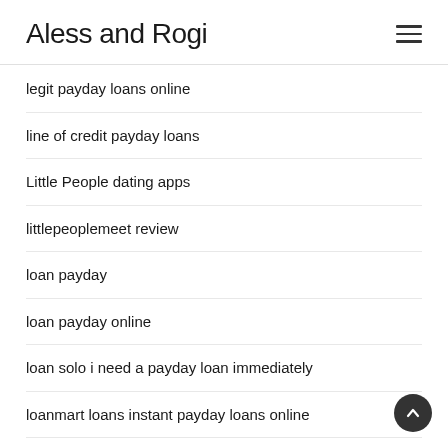Aless and Rogi
legit payday loans online
line of credit payday loans
Little People dating apps
littlepeoplemeet review
loan payday
loan payday online
loan solo i need a payday loan immediately
loanmart loans instant payday loans online